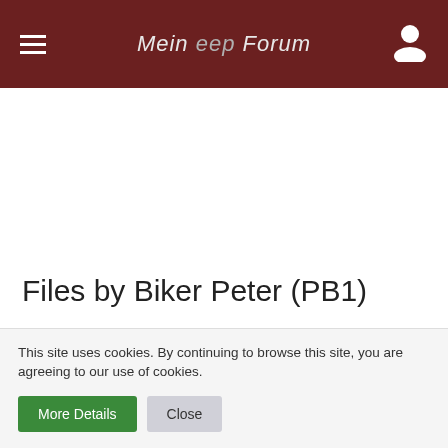Mein eep Forum
Files by Biker Peter (PB1)
Please regard the following if offering:
This site uses cookies. By continuing to browse this site, you are agreeing to our use of cookies.